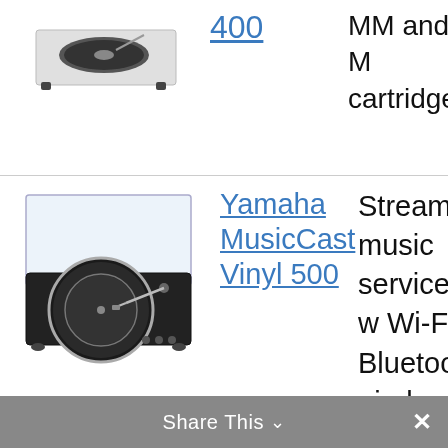[Figure (photo): Partial view of a turntable (top, cropped) at top of page]
400
MM and M cartridges
[Figure (photo): Yamaha MusicCast Vinyl 500 turntable with dust cover, black finish, silver platter]
Yamaha MusicCast Vinyl 500
Stream music services w Wi-Fi, Bluetooth, airplay or Spotify connect
Share This  ×